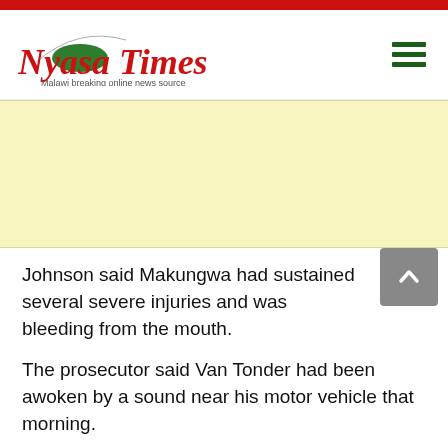Nyasa Times — Malawi breaking online news source
[Figure (other): Advertisement banner placeholder, light yellow background]
Johnson said Makungwa had sustained several severe injuries and was bleeding from the mouth.
The prosecutor said Van Tonder had been awoken by a sound near his motor vehicle that morning.
When he went to investigate, he saw Makungwa and suspected that he was breaking into his vehicle. “He realised after beating him that he was the wrong person.”